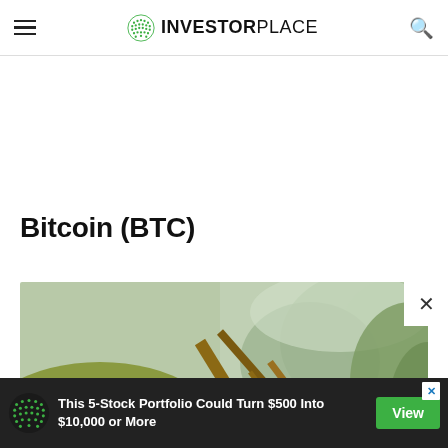INVESTORPLACE
Bitcoin (BTC)
[Figure (photo): A Bitcoin gold coin resting against a mossy rock with branches in the background, blurred natural environment]
This 5-Stock Portfolio Could Turn $500 Into $10,000 or More